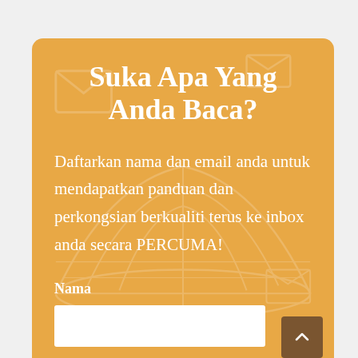Suka Apa Yang Anda Baca?
Daftarkan nama dan email anda untuk mendapatkan panduan dan perkongsian berkualiti terus ke inbox anda secara PERCUMA!
Nama